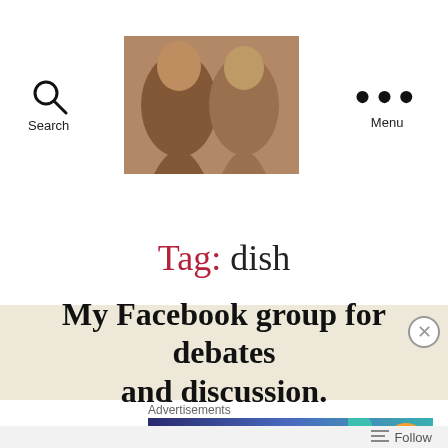Search | [logo image] | Menu
Tag: dish
My Facebook group for debates and discussion.
Advertisements
[Figure (screenshot): WooCommerce advertisement banner: How to start selling subscriptions online]
Follow